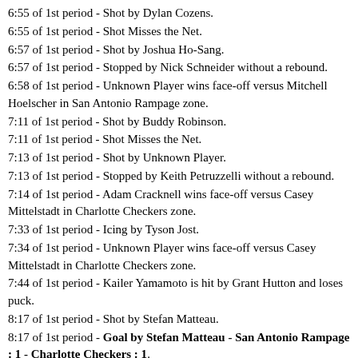6:55 of 1st period - Shot by Dylan Cozens.
6:55 of 1st period - Shot Misses the Net.
6:57 of 1st period - Shot by Joshua Ho-Sang.
6:57 of 1st period - Stopped by Nick Schneider without a rebound.
6:58 of 1st period - Unknown Player wins face-off versus Mitchell Hoelscher in San Antonio Rampage zone.
7:11 of 1st period - Shot by Buddy Robinson.
7:11 of 1st period - Shot Misses the Net.
7:13 of 1st period - Shot by Unknown Player.
7:13 of 1st period - Stopped by Keith Petruzzelli without a rebound.
7:14 of 1st period - Adam Cracknell wins face-off versus Casey Mittelstadt in Charlotte Checkers zone.
7:33 of 1st period - Icing by Tyson Jost.
7:34 of 1st period - Unknown Player wins face-off versus Casey Mittelstadt in Charlotte Checkers zone.
7:44 of 1st period - Kailer Yamamoto is hit by Grant Hutton and loses puck.
8:17 of 1st period - Shot by Stefan Matteau.
8:17 of 1st period - Goal by Stefan Matteau - San Antonio Rampage : 1 - Charlotte Checkers : 1.
8:18 of 1st period - Adam Cracknell wins face-off versus Mitchell Hoelscher in neutral zone.
8:20 of 1st period - Off-side.
8:21 of 1st period - Adam Cracknell wins face-off versus Dylan